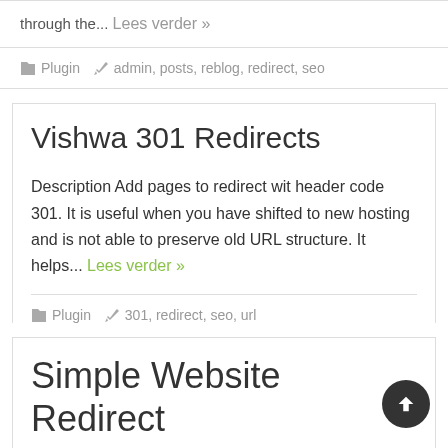through the... Lees verder »
Plugin  admin, posts, reblog, redirect, seo
Vishwa 301 Redirects
Description Add pages to redirect wit header code 301. It is useful when you have shifted to new hosting and is not able to preserve old URL structure. It helps... Lees verder »
Plugin  301, redirect, seo, url
Simple Website Redirect
Description The Simple Website Redirect plugin allows to you redirect an entire website (except